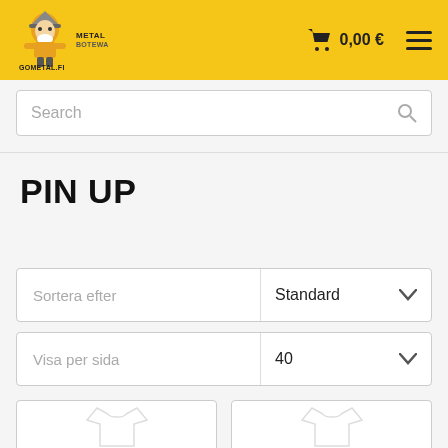Metal Botewa – GOMETAL.FI | 0,00 €
Search
PIN UP
Sortera efter | Standard
Visa per sida | 40
[Figure (screenshot): Two white t-shirt product thumbnails partially visible at bottom of page]